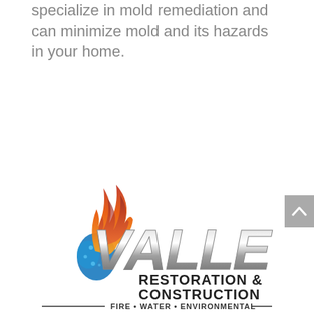specialize in mold remediation and can minimize mold and its hazards in your home.
[Figure (logo): Valley Restoration & Construction logo with flame and water drop icon. Text reads VALLEY RESTORATION & CONSTRUCTION — FIRE • WATER • ENVIRONMENTAL —]